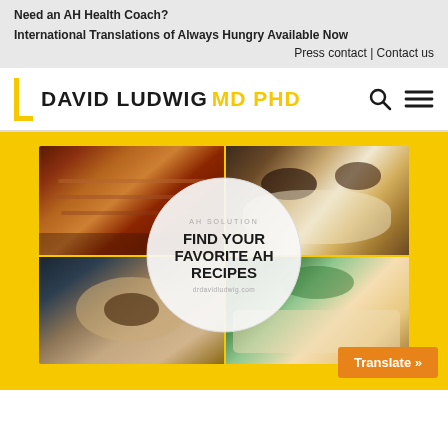Need an AH Health Coach?
International Translations of Always Hungry Available Now
Press contact | Contact us
[Figure (logo): David Ludwig MD PHD logo with yellow bracket]
[Figure (photo): Collage of food photos: sliced roast meat top-left, chocolate truffles/ice cream top-right, cookies/pastry bottom-left, salad bottom-right, with center circular badge reading AH SOLUTION FIND YOUR FAVORITE AH RECIPES drdavidludwig.com, and orange Translate button bottom-right]